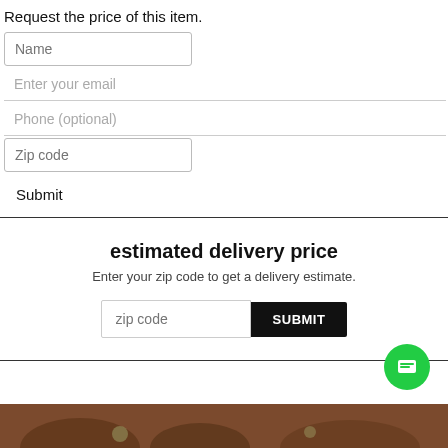Request the price of this item.
Name
Enter your email
Phone (optional)
Zip code
Submit
estimated delivery price
Enter your zip code to get a delivery estimate.
zip code
SUBMIT
[Figure (other): Green circular chat/message button icon]